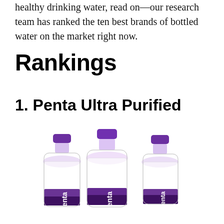healthy drinking water, read on—our research team has ranked the ten best brands of bottled water on the market right now.
Rankings
1. Penta Ultra Purified
[Figure (photo): Three Penta Ultra Purified water bottles with purple caps and purple gradient labels showing the 'penta' brand name, arranged side by side.]